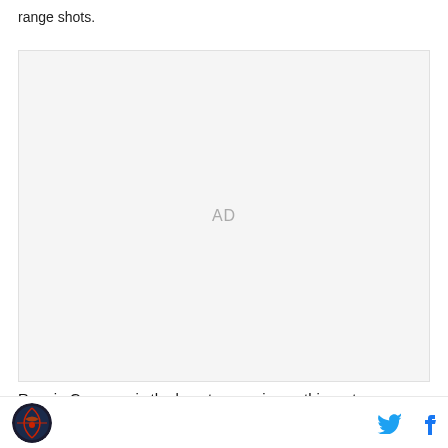range shots.
[Figure (other): Advertisement placeholder box with 'AD' text in center]
Reggie Cameron is the lone true senior on this roster
Logo and social media icons (Twitter, Facebook)